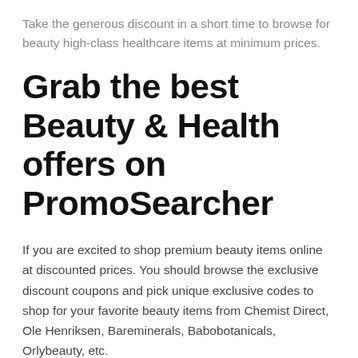Take the generous discount in a short time to browse for beauty high-class healthcare items at minimum prices.
Grab the best Beauty & Health offers on PromoSearcher
If you are excited to shop premium beauty items online at discounted prices. You should browse the exclusive discount coupons and pick unique exclusive codes to shop for your favorite beauty items from Chemist Direct, Ole Henriksen, Bareminerals, Babobotanicals, Orlybeauty, etc.
Why browse for Beauty...